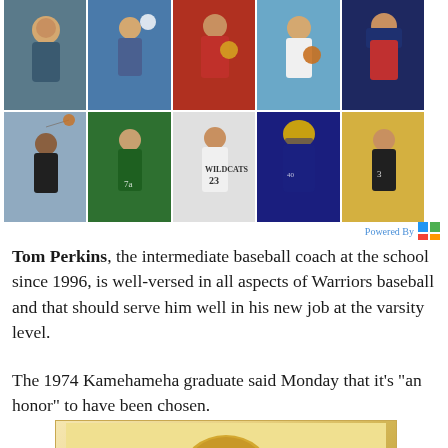[Figure (photo): Sports photo collage grid with 10 athlete photos arranged in 2 rows of 5: row 1 shows swimmers/water polo players, baseball players, basketball players, and other athletes; row 2 shows basketball player shooting, soccer player in green, Wildcats #23 basketball player, football player #40 in blue/gold helmet, and volleyball player in black]
Powered By (logo)
Tom Perkins, the intermediate baseball coach at the school since 1996, is well-versed in all aspects of Warriors baseball and that should serve him well in his new job at the varsity level.
The 1974 Kamehameha graduate said Monday that it's "an honor" to have been chosen.
[Figure (photo): Bottom portion of a baseball with stitching visible, beige/tan background with gold border]